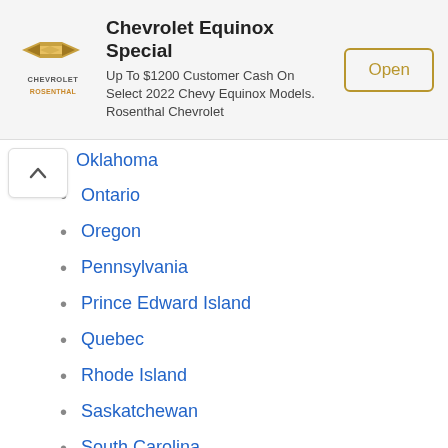[Figure (logo): Chevrolet Rosenthal dealer logo — gold bowtie emblem with CHEVROLET and ROSENTHAL text]
Chevrolet Equinox Special
Up To $1200 Customer Cash On Select 2022 Chevy Equinox Models. Rosenthal Chevrolet
Oklahoma
Ontario
Oregon
Pennsylvania
Prince Edward Island
Quebec
Rhode Island
Saskatchewan
South Carolina
South Dakota
Tennessee
Texas
Utah
Vermont
Virginia
Washington